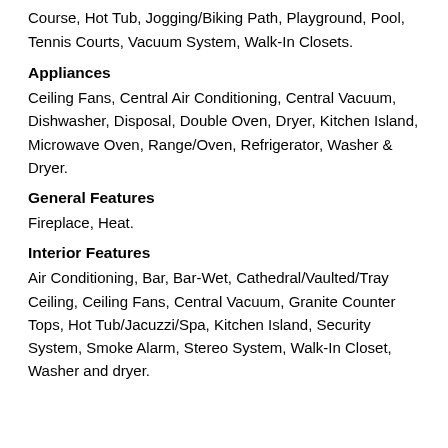Course, Hot Tub, Jogging/Biking Path, Playground, Pool, Tennis Courts, Vacuum System, Walk-In Closets.
Appliances
Ceiling Fans, Central Air Conditioning, Central Vacuum, Dishwasher, Disposal, Double Oven, Dryer, Kitchen Island, Microwave Oven, Range/Oven, Refrigerator, Washer & Dryer.
General Features
Fireplace, Heat.
Interior Features
Air Conditioning, Bar, Bar-Wet, Cathedral/Vaulted/Tray Ceiling, Ceiling Fans, Central Vacuum, Granite Counter Tops, Hot Tub/Jacuzzi/Spa, Kitchen Island, Security System, Smoke Alarm, Stereo System, Walk-In Closet, Washer and dryer.